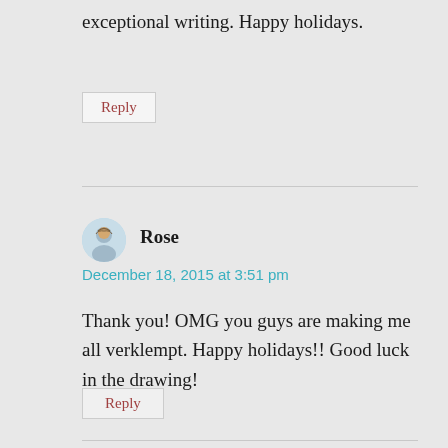exceptional writing. Happy holidays.
Reply
Rose
December 18, 2015 at 3:51 pm
Thank you! OMG you guys are making me all verklempt. Happy holidays!! Good luck in the drawing!
Reply